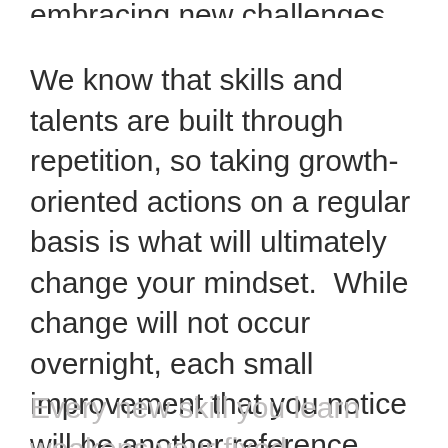embracing new challenges.
We know that skills and talents are built through repetition, so taking growth-oriented actions on a regular basis is what will ultimately change your mindset.  While change will not occur overnight, each small improvement that you notice will be another reference point that proves your capacity to grow.
Every new skill you learn weakens your fixed mindset's voice, until it's eventually